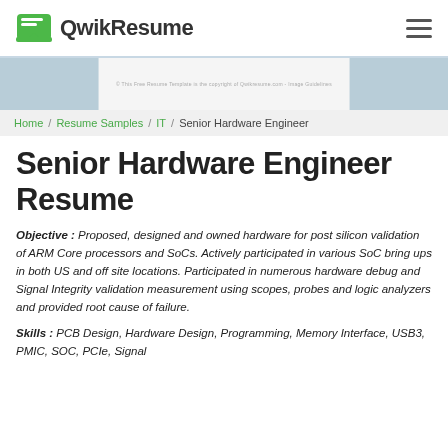QwikResume
[Figure (screenshot): Banner area with light blue sides and white center panel containing a faint URL text]
Home / Resume Samples / IT / Senior Hardware Engineer
Senior Hardware Engineer Resume
Objective : Proposed, designed and owned hardware for post silicon validation of ARM Core processors and SoCs. Actively participated in various SoC bring ups in both US and off site locations. Participated in numerous hardware debug and Signal Integrity validation measurement using scopes, probes and logic analyzers and provided root cause of failure.
Skills : PCB Design, Hardware Design, Programming, Memory Interface, USB3, PMIC, SOC, PCIe, Signal